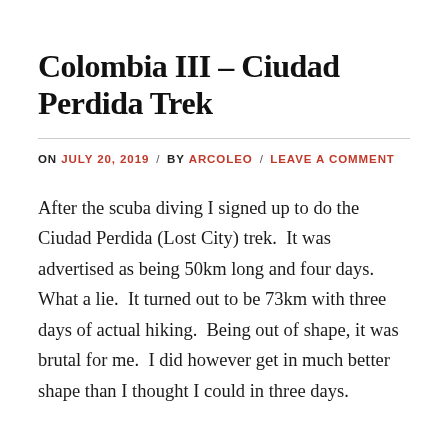Colombia III – Ciudad Perdida Trek
ON JULY 20, 2019 / BY ARCOLEO / LEAVE A COMMENT
After the scuba diving I signed up to do the Ciudad Perdida (Lost City) trek.  It was advertised as being 50km long and four days.  What a lie.  It turned out to be 73km with three days of actual hiking.  Being out of shape, it was brutal for me.  I did however get in much better shape than I thought I could in three days.